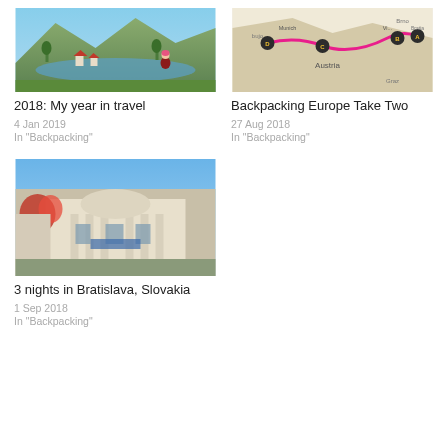[Figure (photo): A girl with pink hair in a red outfit standing overlooking a scenic lake and village with mountains behind]
2018: My year in travel
4 Jan 2019
In "Backpacking"
[Figure (map): A Google Maps route map showing a pink route through Austria and surrounding countries with labeled pins A, B, C, D]
Backpacking Europe Take Two
27 Aug 2018
In "Backpacking"
[Figure (photo): A historic European building with columns and red flowering trees in front, likely in Bratislava, Slovakia]
3 nights in Bratislava, Slovakia
1 Sep 2018
In "Backpacking"